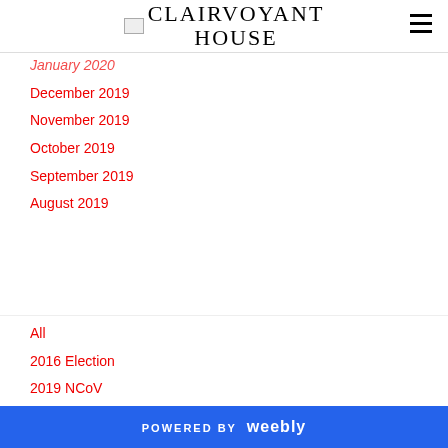CLAIRVOYANT HOUSE
January 2020
December 2019
November 2019
October 2019
September 2019
August 2019
All
2016 Election
2019 NCoV
2019-nCoV
2020 Election
2020 Election In USA
POWERED BY weebly